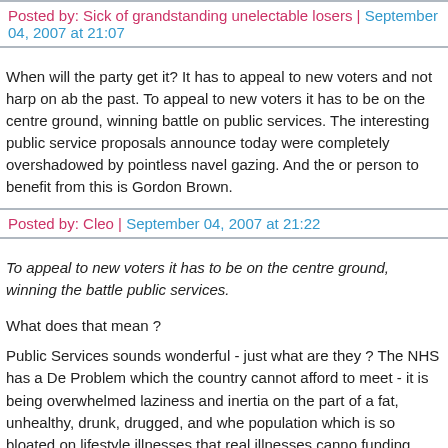Posted by: Sick of grandstanding unelectable losers | September 04, 2007 at 21:07
When will the party get it? It has to appeal to new voters and not harp on ab the past. To appeal to new voters it has to be on the centre ground, winning battle on public services. The interesting public service proposals announce today were completely overshadowed by pointless navel gazing. And the or person to benefit from this is Gordon Brown.
Posted by: Cleo | September 04, 2007 at 21:22
To appeal to new voters it has to be on the centre ground, winning the battle public services.
What does that mean ?
Public Services sounds wonderful - just what are they ? The NHS has a De Problem which the country cannot afford to meet - it is being overwhelmed laziness and inertia on the part of a fat, unhealthy, drunk, drugged, and whe population which is so bloated on lifestyle illnesses that real illnesses canno funding.
We have crappy cancer care because funding is sucked into whatever is m